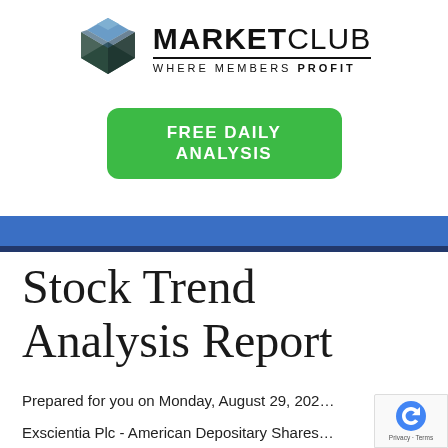[Figure (logo): MarketClub logo: a dark teal/charcoal 3D cube icon with blue-gray triangular top facets, next to the text MARKETCLUB and tagline WHERE MEMBERS PROFIT]
[Figure (infographic): Green rounded rectangle button with white bold text reading FREE DAILY ANALYSIS]
Stock Trend Analysis Report
Prepared for you on Monday, August 29, 202...
Exscientia Plc - American Depositary Shares...